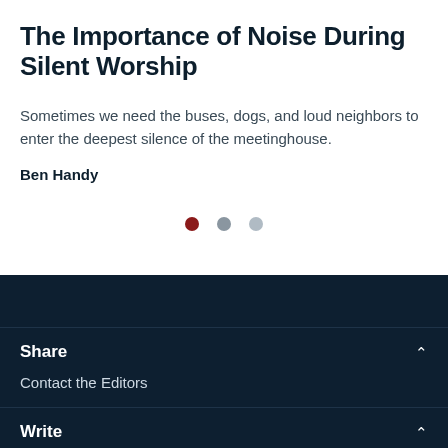The Importance of Noise During Silent Worship
Sometimes we need the buses, dogs, and loud neighbors to enter the deepest silence of the meetinghouse.
Ben Handy
[Figure (infographic): Three dots: one dark red (active), two gray (inactive) — carousel pagination indicator]
Share
Contact the Editors
Write